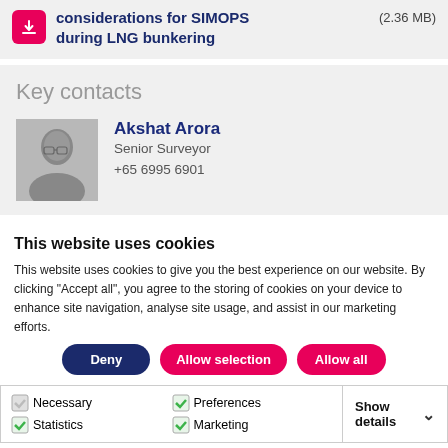considerations for SIMOPS during LNG bunkering (2.36 MB)
Key contacts
Akshat Arora
Senior Surveyor
+65 6995 6901
[Figure (photo): Headshot photo of Akshat Arora]
This website uses cookies
This website uses cookies to give you the best experience on our website. By clicking “Accept all”, you agree to the storing of cookies on your device to enhance site navigation, analyse site usage, and assist in our marketing efforts.
Deny | Allow selection | Allow all
Necessary | Preferences | Statistics | Marketing | Show details